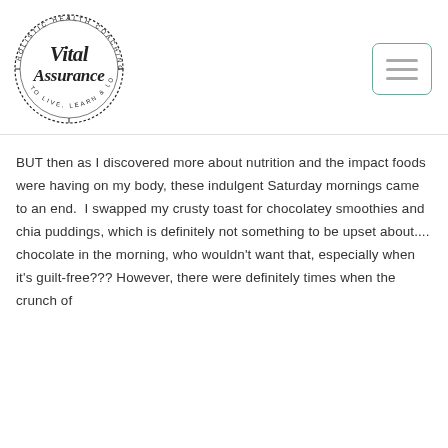[Figure (logo): Vital Assurance Holistic Health Coaching circular logo with script text reading 'Vital Assurance' and text around the circle reading 'HOLISTIC HEALTH COACHING' and 'TO LIVE, LEARN & LOVE']
BUT then as I discovered more about nutrition and the impact foods were having on my body, these indulgent Saturday mornings came to an end.  I swapped my crusty toast for chocolatey smoothies and chia puddings, which is definitely not something to be upset about.... chocolate in the morning, who wouldn't want that, especially when it's guilt-free??? However, there were definitely times when the crunch of